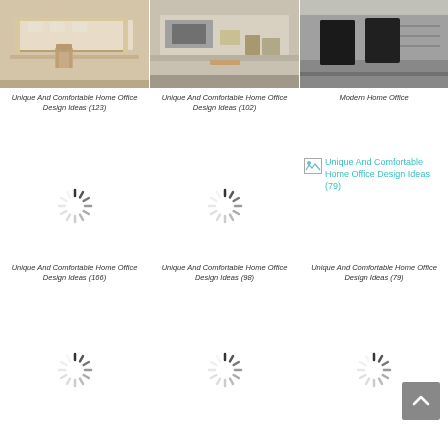[Figure (photo): Home office with white desk and wooden stool]
[Figure (photo): Home office with white shelving unit and TV]
[Figure (photo): Modern home office with black chairs]
Unique And Comfortable Home Office Design Ideas (123)
Unique And Comfortable Home Office Design Ideas (102)
Modern Home Office
[Figure (other): Loading spinner placeholder]
[Figure (other): Loading spinner placeholder]
[Figure (other): Broken image with link: Unique And Comfortable Home Office Design Ideas (79)]
Unique And Comfortable Home Office Design Ideas (166)
Unique And Comfortable Home Office Design Ideas (98)
Unique And Comfortable Home Office Design Ideas (79)
[Figure (other): Loading spinner placeholder]
[Figure (other): Loading spinner placeholder]
[Figure (other): Loading spinner placeholder]